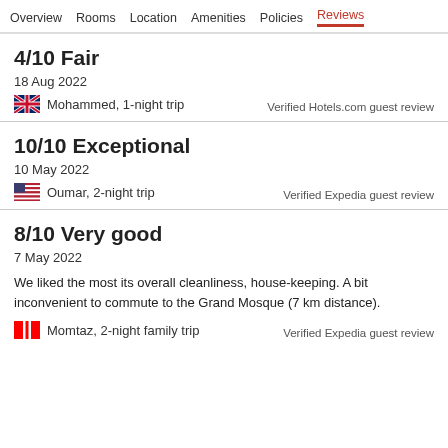Overview  Rooms  Location  Amenities  Policies  Reviews
4/10 Fair
18 Aug 2022
Mohammed, 1-night trip
Verified Hotels.com guest review
10/10 Exceptional
10 May 2022
Oumar, 2-night trip
Verified Expedia guest review
8/10 Very good
7 May 2022
We liked the most its overall cleanliness, house-keeping. A bit inconvenient to commute to the Grand Mosque (7 km distance).
Momtaz, 2-night family trip
Verified Expedia guest review